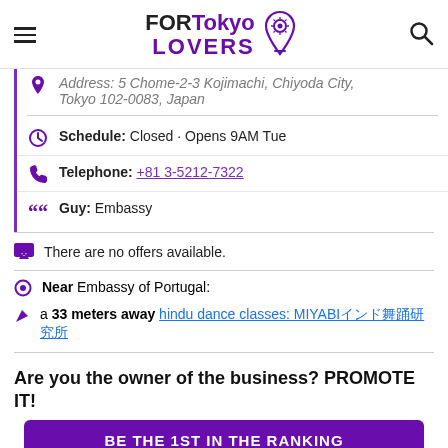FOR Tokyo LOVERS
Address: 5 Chome-2-3 Kojimachi, Chiyoda City, Tokyo 102-0083, Japan
Schedule: Closed · Opens 9AM Tue
Telephone: +81 3-5212-7322
Guy: Embassy
There are no offers available.
Near Embassy of Portugal:
a 33 meters away hindu dance classes: MIYABI雅インド舞踊研究所
Are you the owner of the business? PROMOTE IT!
BE THE 1ST IN THE RANKING